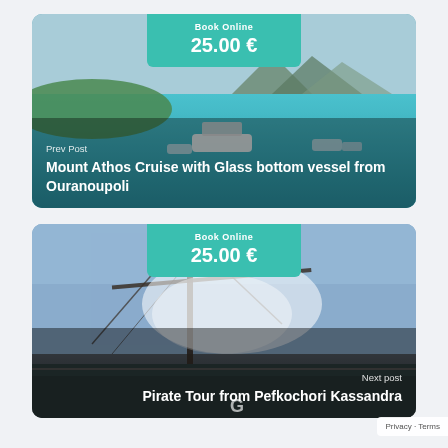[Figure (photo): Aerial view of boats on turquoise water near green islands, with a glass-bottom cruise vessel visible. Overlaid with a teal 'Book Online 25.00 €' badge and navigation text 'Prev Post – Mount Athos Cruise with Glass bottom vessel from Ouranoupoli'.]
[Figure (photo): Photo of a sailing ship's mast and rigging against a blue sky with spray/water. Overlaid with a teal 'Book Online 25.00 €' badge and navigation text 'Next post – Pirate Tour from Pefkochori Kassandra'.]
Privacy · Terms